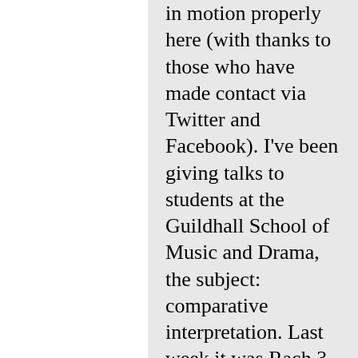in motion properly here (with thanks to those who have made contact via Twitter and Facebook). I've been giving talks to students at the Guildhall School of Music and Drama, the subject: comparative interpretation. Last week it was Rach 3 (Rachmaninov, Horowitz [4 versions], Cliburn, Volodos, Bolet, Cherkassky,